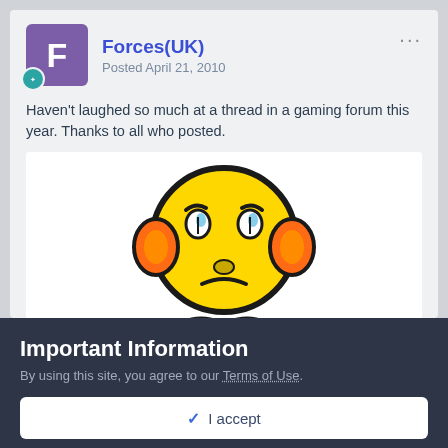Forces(UK) — Posted April 21, 2010
Haven't laughed so much at a thread in a gaming forum this year. Thanks to all who posted.
[Figure (illustration): A yellow frowning emoji character with orange headphone ear pieces, hands raised to head, wearing blue shoes, with a worried/frustrated expression.]
Important Information
By using this site, you agree to our Terms of Use.
✓ I accept